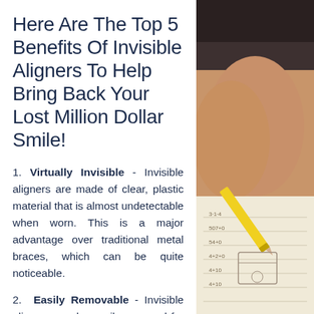Here Are The Top 5 Benefits Of Invisible Aligners To Help Bring Back Your Lost Million Dollar Smile!
1. Virtually Invisible - Invisible aligners are made of clear, plastic material that is almost undetectable when worn. This is a major advantage over traditional metal braces, which can be quite noticeable.
2. Easily Removable - Invisible aligners can be easily removed for eating, drinking, brushing, and flossing purposes and are easy to manage
[Figure (photo): Photo of a person's hand writing in a notebook with a yellow pencil, dark background at top]